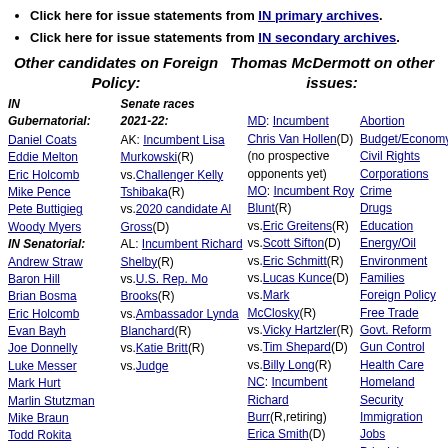Click here for issue statements from IN primary archives.
Click here for issue statements from IN secondary archives.
Other candidates on Foreign Policy:
Thomas McDermott on other issues:
IN Gubernatorial: Daniel Coats, Eddie Melton, Eric Holcomb, Mike Pence, Pete Buttigieg, Woody Myers. IN Senatorial: Andrew Straw, Baron Hill, Brian Bosma, Eric Holcomb, Evan Bayh, Joe Donnelly, Luke Messer, Mark Hurt, Marlin Stutzman, Mike Braun, Todd Rokita, Todd Young
Senate races 2021-22: AK: Incumbent Lisa Murkowski(R) vs.Challenger Kelly Tshibaka(R) vs.2020 candidate Al Gross(D), AL: Incumbent Richard Shelby(R) vs.U.S. Rep. Mo Brooks(R) vs.Ambassador Lynda Blanchard(R) vs.Katie Britt(R) vs.Judge
MD: Incumbent Chris Van Hollen(D) (no prospective opponents yet). MO: Incumbent Roy Blunt(R) vs.Eric Greitens(R) vs.Scott Sifton(D) vs.Eric Schmitt(R) vs.Lucas Kunce(D) vs.Mark McClosky(R) vs.Vicky Hartzler(R) vs.Tim Shepard(D) vs.Billy Long(R). NC: Incumbent Richard Burr(R,retiring). Erica Smith(D)
Abortion, Budget/Economy, Civil Rights, Corporations, Crime, Drugs, Education, Energy/Oil, Environment, Families, Foreign Policy, Free Trade, Govt. Reform, Gun Control, Health Care, Homeland Security, Immigration, Jobs, Principles, Social Security, Tax Reform, Technology